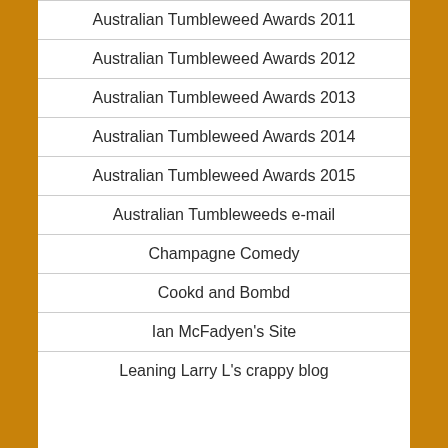Australian Tumbleweed Awards 2011
Australian Tumbleweed Awards 2012
Australian Tumbleweed Awards 2013
Australian Tumbleweed Awards 2014
Australian Tumbleweed Awards 2015
Australian Tumbleweeds e-mail
Champagne Comedy
Cookd and Bombd
Ian McFadyen's Site
Leaning Larry L's crappy blog